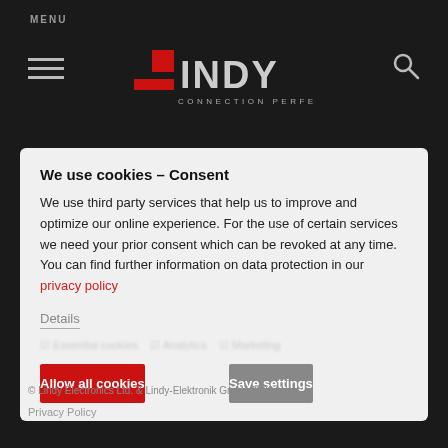MENU | LINDY CONNECTION PERFECTION
We use cookies – Consent
We use third party services that help us to improve and optimize our online experience. For the use of certain services we need your prior consent which can be revoked at any time. You can find further information on data protection in our privacy policy
Details
Allow all cookies
Save settings
© Lindy Electronics Ltd. & Lindy-Elektronik GmbH 2020
Privacy Policy